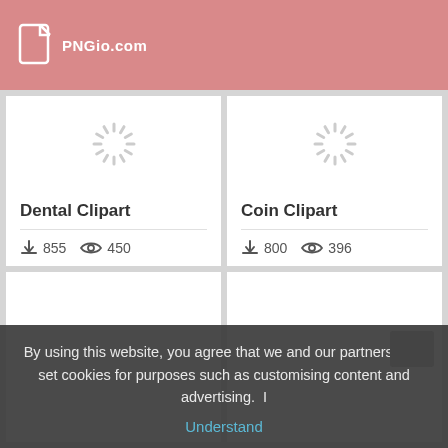PNGio.com
[Figure (screenshot): Loading spinner icon for Dental Clipart card]
Dental Clipart
855 downloads  450 views
[Figure (screenshot): Loading spinner icon for Coin Clipart card]
Coin Clipart
800 downloads  396 views
[Figure (screenshot): Empty card bottom left]
[Figure (screenshot): Empty card bottom right]
By using this website, you agree that we and our partners may set cookies for purposes such as customising content and advertising. I
Understand